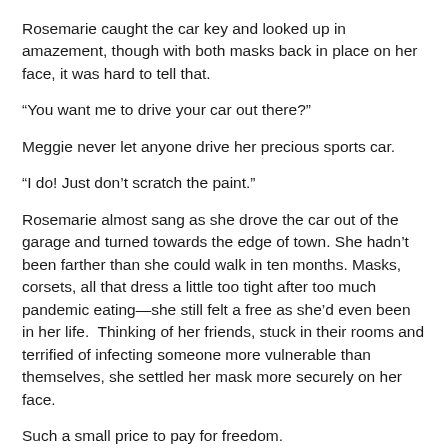Rosemarie caught the car key and looked up in amazement, though with both masks back in place on her face, it was hard to tell that.
“You want me to drive your car out there?”
Meggie never let anyone drive her precious sports car.
“I do! Just don’t scratch the paint.”
Rosemarie almost sang as she drove the car out of the garage and turned towards the edge of town. She hadn’t been farther than she could walk in ten months. Masks, corsets, all that dress a little too tight after too much pandemic eating—she still felt a free as she’d even been in her life.  Thinking of her friends, stuck in their rooms and terrified of infecting someone more vulnerable than themselves, she settled her mask more securely on her face.
Such a small price to pay for freedom.